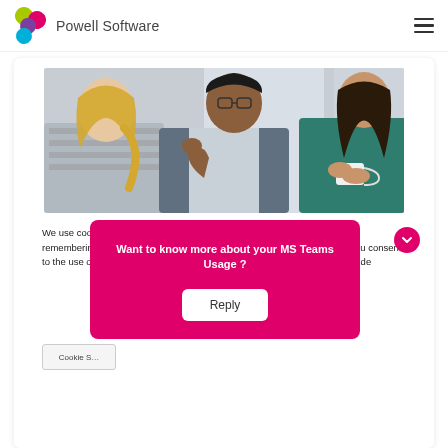Powell Software
[Figure (photo): Three people having a conversation in an office setting. A woman with a ponytail seen from behind, a man with glasses gesturing, and a woman in a teal turtleneck holding a mug.]
We use cookies on our website to give you the most relevant experience by remembering your preferences and repeat visits. By clicking "Accept All", you consent to the use of ALL the cookies. However, you may visit Cookie Settings to provide a controlled consent.
Cookie S[ettings]
Want to know more about your MS Teams Usage ?
Reply